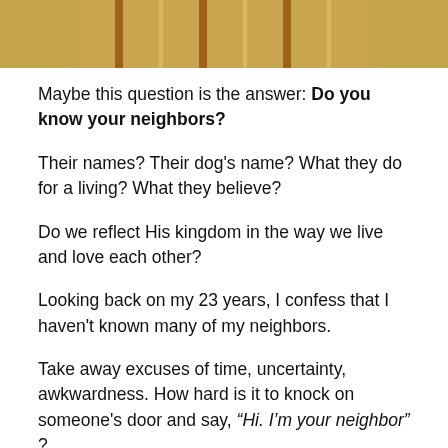[Figure (photo): Partial photo showing wooden panels or a fence with orange/brown wood grain texture]
Maybe this question is the answer: Do you know your neighbors?
Their names? Their dog's name? What they do for a living? What they believe?
Do we reflect His kingdom in the way we live and love each other?
Looking back on my 23 years, I confess that I haven't known many of my neighbors.
Take away excuses of time, uncertainty, awkwardness. How hard is it to knock on someone's door and say, “Hi. I’m your neighbor” ?